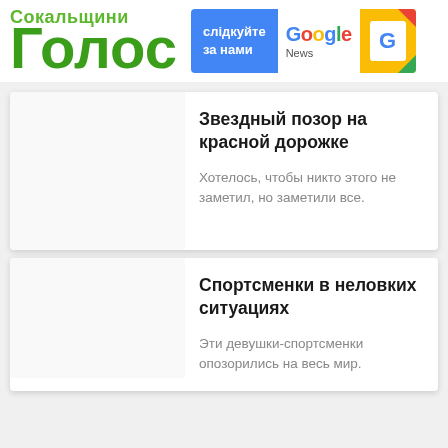Сокальщини Голос
[Figure (logo): Google News follow us banner with blue background, Google logo, and newspaper icon with colorful corners]
Звездный позор на красной дорожке
Хотелось, чтобы никто этого не заметил, но заметили все.
Спортсменки в неловких ситуациях
Эти девушки-спортсменки опозорились на весь мир.